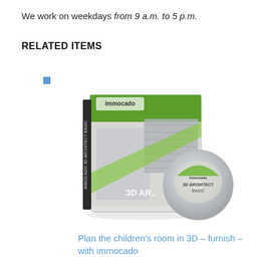We work on weekdays from 9 a.m. to 5 p.m.
RELATED ITEMS
[Figure (photo): Product image of Immocado 3D Architect Basic software box and CD, showing architectural 3D rendering on the cover with green and grey design.]
Plan the children's room in 3D – furnish – with immocado